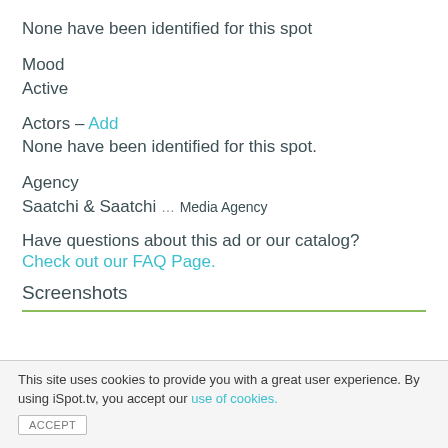None have been identified for this spot
Mood
Active
Actors – Add
None have been identified for this spot.
Agency
Saatchi & Saatchi … Media Agency
Have questions about this ad or our catalog? Check out our FAQ Page.
Screenshots
This site uses cookies to provide you with a great user experience. By using iSpot.tv, you accept our use of cookies.
ACCEPT